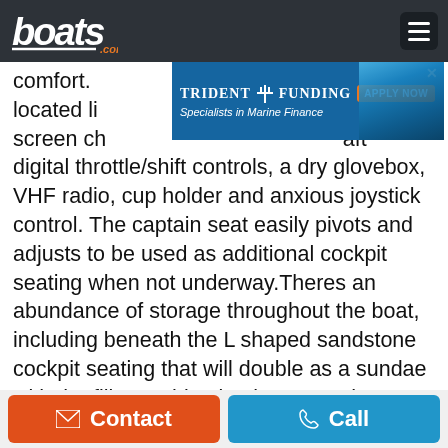boats.com
[Figure (screenshot): Trident Funding advertisement banner with 'APPLY NOW' button and boat image. Text: TRIDENT FUNDING, Specialists in Marine Finance]
comfort. located li... ch screen chart plotter, GPS, Vessel View display, Smartcraft digital throttle/shift controls, a dry glovebox, VHF radio, cup holder and anxious joystick control. The captain seat easily pivots and adjusts to be used as additional cockpit seating when not underway.Theres an abundance of storage throughout the boat, including beneath the L shaped sandstone cockpit seating that will double as a sundae with the filler cushion in place. Lay the folding backrest of the rear bench seat down for an even larger layout area!  Perfect for long days out on the water, sunset cruises or overnighting, the hard surface wet bar with sink, trash receptacle, optional cockpit refrigerator and optional cockpit grill are an excellent touch. Stepping down into the cabin,
Contact   Call